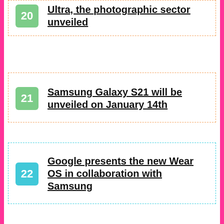20 Ultra, the photographic sector unveiled
21 Samsung Galaxy S21 will be unveiled on January 14th
22 Google presents the new Wear OS in collaboration with Samsung
23 Samsung Galaxy S21 + 5G at a record low on amazon
24 Samsung unveils the first 200MP